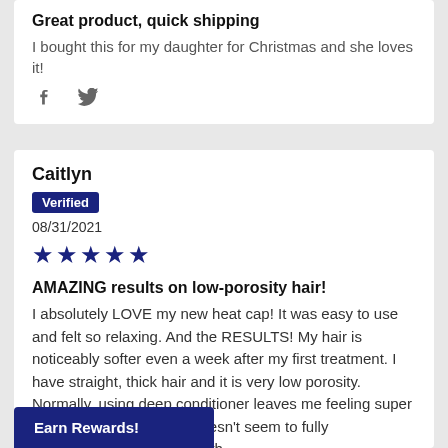Great product, quick shipping
I bought this for my daughter for Christmas and she loves it!
Caitlyn
Verified
08/31/2021
AMAZING results on low-porosity hair!
I absolutely LOVE my new heat cap! It was easy to use and felt so relaxing. And the RESULTS! My hair is noticeably softer even a week after my first treatment. I have straight, thick hair and it is very low porosity. Normally, using deep conditioner leaves me feeling super greasy the by the y and doesn't seem to fully hair. After one treatment with
Earn Rewards!